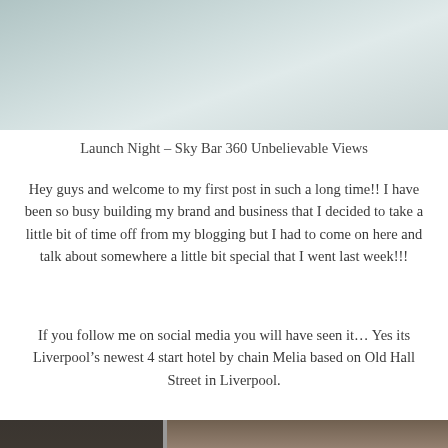[Figure (photo): Top portion of a photo showing what appears to be a tiled ceiling or floor surface in grey/teal tones, cropped at the top of the page.]
Launch Night – Sky Bar 360 Unbelievable Views
Hey guys and welcome to my first post in such a long time!! I have been so busy building my brand and business that I decided to take a little bit of time off from my blogging but I had to come on here and talk about somewhere a little bit special that I went last week!!!
If you follow me on social media you will have seen it… Yes its Liverpool's newest 4 start hotel by chain Melia based on Old Hall Street in Liverpool.
[Figure (photo): Bottom portion of a photo showing two panels: left panel with dark wooden/metal surfaces, right panel showing a blonde woman looking down, with her hair visible.]